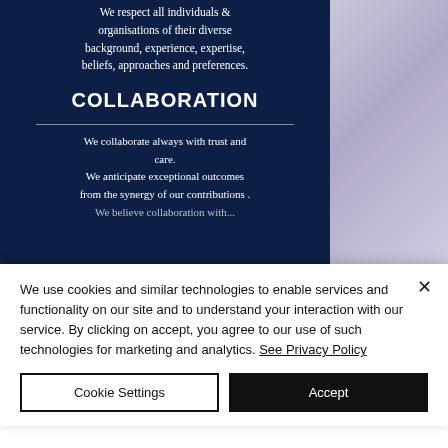We respect all individuals & organisations of their diverse background, experience, expertise, beliefs, approaches and preferences.
COLLABORATION
We collaborate always with trust and care. We anticipate exceptional outcomes from the synergy of our contributions . We believe collaboration with...
We use cookies and similar technologies to enable services and functionality on our site and to understand your interaction with our service. By clicking on accept, you agree to our use of such technologies for marketing and analytics. See Privacy Policy